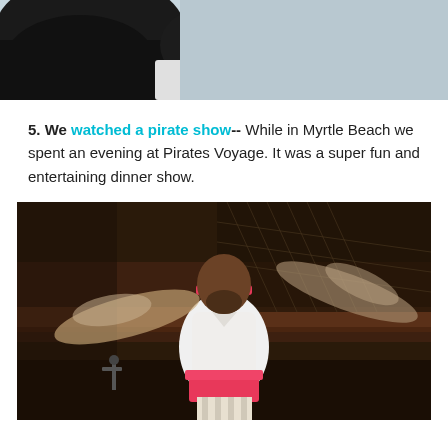[Figure (photo): Partial image showing black rounded objects and an orange traffic cone on a light blue/grey background - top portion of a boat or harbor scene]
5.  We watched a pirate show--  While in Myrtle Beach we spent an evening at Pirates Voyage.  It was a super fun and entertaining dinner show.
[Figure (photo): A performer dressed as a pirate with a pink/red headband, white shirt, pink sash, and striped pants, arms outstretched in motion, performing at Pirates Voyage dinner show]